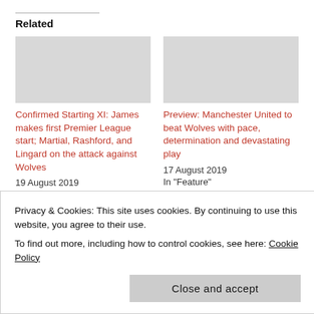Related
Confirmed Starting XI: James makes first Premier League start; Martial, Rashford, and Lingard on the attack against Wolves
19 August 2019
In "Feature"
Preview: Manchester United to beat Wolves with pace, determination and devastating play
17 August 2019
In "Feature"
Fernandes starts against
Privacy & Cookies: This site uses cookies. By continuing to use this website, you agree to their use.
To find out more, including how to control cookies, see here: Cookie Policy
Close and accept